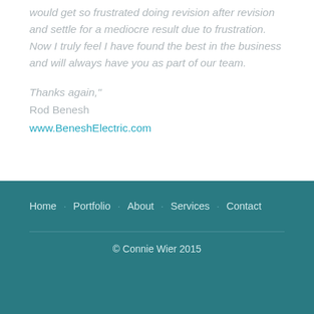would get so frustrated doing revision after revision and settle for a mediocre result due to frustration.  Now I truly feel I have found the best in the business and will always have you as part of our team.
Thanks again,"
Rod Benesh
www.BeneshElectric.com
Home · Portfolio · About · Services · Contact
© Connie Wier 2015